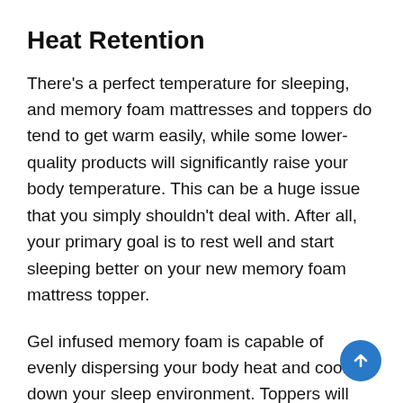Heat Retention
There’s a perfect temperature for sleeping, and memory foam mattresses and toppers do tend to get warm easily, while some lower-quality products will significantly raise your body temperature. This can be a huge issue that you simply shouldn’t deal with. After all, your primary goal is to rest well and start sleeping better on your new memory foam mattress topper.
Gel infused memory foam is capable of evenly dispersing your body heat and cooling down your sleep environment. Toppers will still feel warm underneath you, which is perfectly normal. On the other hand, toppers which are made of high quality memory foam can provide you with the